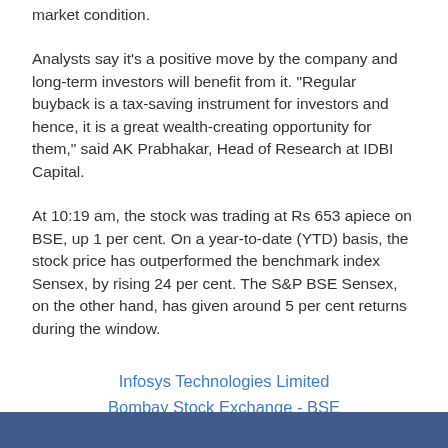market condition.
Analysts say it's a positive move by the company and long-term investors will benefit from it. "Regular buyback is a tax-saving instrument for investors and hence, it is a great wealth-creating opportunity for them," said AK Prabhakar, Head of Research at IDBI Capital.
At 10:19 am, the stock was trading at Rs 653 apiece on BSE, up 1 per cent. On a year-to-date (YTD) basis, the stock price has outperformed the benchmark index Sensex, by rising 24 per cent. The S&P BSE Sensex, on the other hand, has given around 5 per cent returns during the window.
Infosys Technologies Limited
Bombay Stock Exchange - BSE